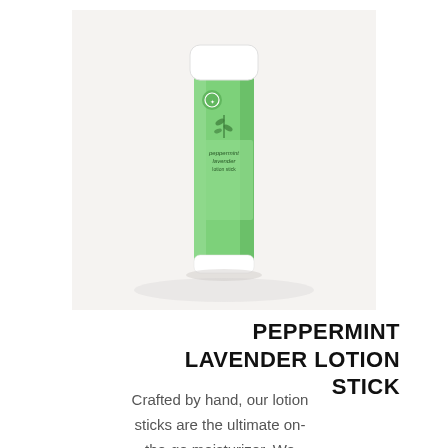[Figure (photo): A green and white lotion stick (peppermint lavender) standing upright on a white fabric background. The bottle has a white cap and a green label with floral/herb illustrations and text reading 'peppermint lavender lotion stick'.]
PEPPERMINT LAVENDER LOTION STICK
Crafted by hand, our lotion sticks are the ultimate on-the-go moisturizer. We blend in the calming oil of